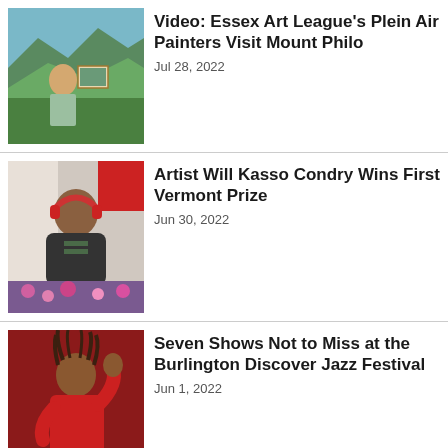[Figure (photo): Woman holding a painting outdoors on a mountain scenic overlook]
Video: Essex Art League's Plein Air Painters Visit Mount Philo
Jul 28, 2022
[Figure (photo): Artist Will Kasso Condry smiling, wearing headphones and a dark hoodie, with plants in background]
Artist Will Kasso Condry Wins First Vermont Prize
Jun 30, 2022
[Figure (photo): Person in red shirt with arm raised against a red background]
Seven Shows Not to Miss at the Burlington Discover Jazz Festival
Jun 1, 2022
[Figure (advertisement): Smugglers' Notch Vermont advertisement: Season Passes starting at $299. Purchase by Labor Day and SAVE!]